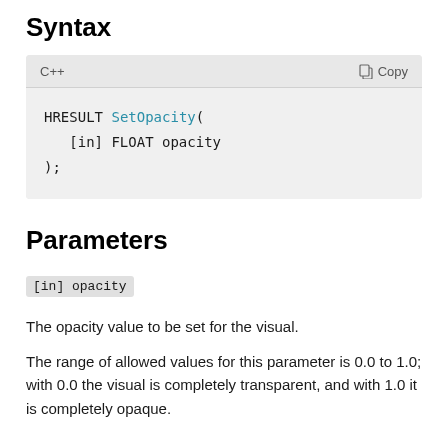Syntax
C++
HRESULT SetOpacity(
   [in] FLOAT opacity
);
Parameters
[in] opacity
The opacity value to be set for the visual.
The range of allowed values for this parameter is 0.0 to 1.0; with 0.0 the visual is completely transparent, and with 1.0 it is completely opaque.